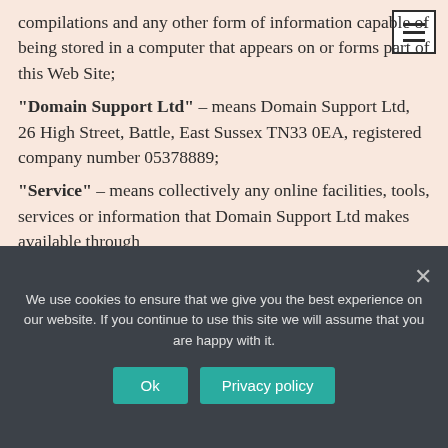compilations and any other form of information capable of being stored in a computer that appears on or forms part of this Web Site;
"Domain Support Ltd" – means Domain Support Ltd, 26 High Street, Battle, East Sussex TN33 0EA, registered company number 05378889;
"Service" – means collectively any online facilities, tools, services or information that Domain Support Ltd makes available through
We use cookies to ensure that we give you the best experience on our website. If you continue to use this site we will assume that you are happy with it.